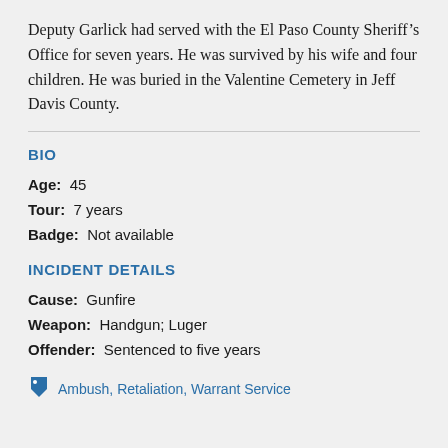Deputy Garlick had served with the El Paso County Sheriff's Office for seven years. He was survived by his wife and four children. He was buried in the Valentine Cemetery in Jeff Davis County.
BIO
Age: 45
Tour: 7 years
Badge: Not available
INCIDENT DETAILS
Cause: Gunfire
Weapon: Handgun; Luger
Offender: Sentenced to five years
Ambush, Retaliation, Warrant Service